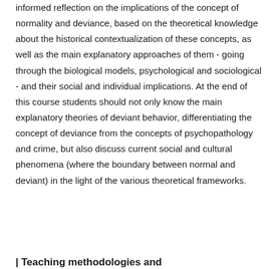informed reflection on the implications of the concept of normality and deviance, based on the theoretical knowledge about the historical contextualization of these concepts, as well as the main explanatory approaches of them - going through the biological models, psychological and sociological - and their social and individual implications. At the end of this course students should not only know the main explanatory theories of deviant behavior, differentiating the concept of deviance from the concepts of psychopathology and crime, but also discuss current social and cultural phenomena (where the boundary between normal and deviant) in the light of the various theoretical frameworks.
| Teaching methodologies and